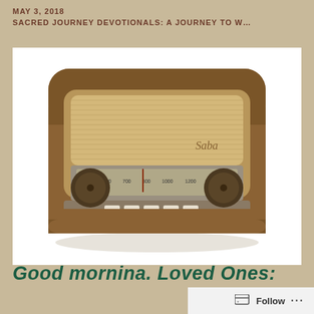MAY 3, 2018
SACRED JOURNEY DEVOTIONALS: A JOURNEY TO W…
[Figure (photo): Vintage wooden tabletop radio (Saba brand) with tan fabric speaker grille, tuner dial display, and two large knobs, photographed on white background.]
Good mornina. Loved Ones:
Follow ...